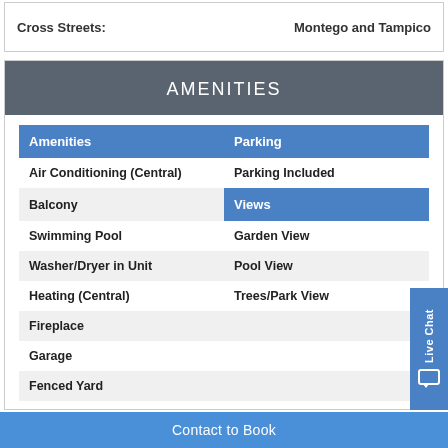| Cross Streets: | Montego and Tampico |
| --- | --- |
AMENITIES
| Amenities | Parking |
| --- | --- |
| Air Conditioning (Central) | Parking Included |
| Balcony | Views (header) |
| Swimming Pool | Garden View |
| Washer/Dryer in Unit | Pool View |
| Heating (Central) | Trees/Park View |
| Fireplace |  |
| Garage |  |
| Fenced Yard |  |
Contact to Book